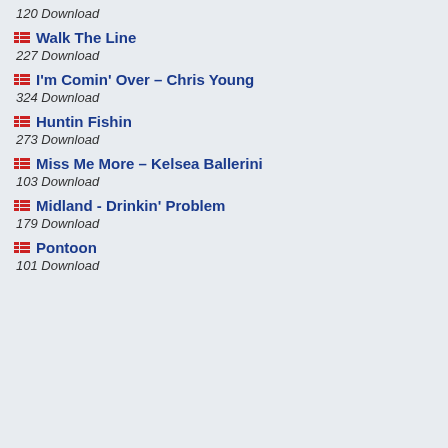120 Download
Walk The Line — 227 Download
I'm Comin' Over – Chris Young — 324 Download
Huntin Fishin — 273 Download
Miss Me More – Kelsea Ballerini — 103 Download
Midland - Drinkin' Problem — 179 Download
Pontoon — 101 Download